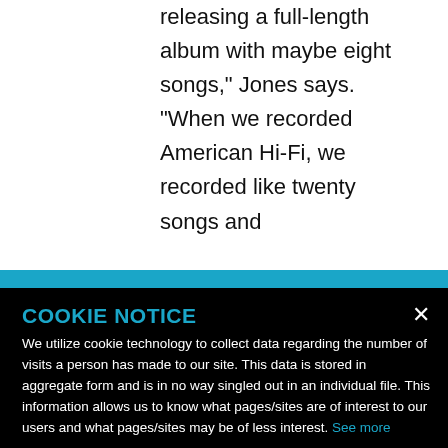releasing a full-length album with maybe eight songs," Jones says. "When we recorded American Hi-Fi, we recorded like twenty songs and
COOKIE NOTICE
We utilize cookie technology to collect data regarding the number of visits a person has made to our site. This data is stored in aggregate form and is in no way singled out in an individual file. This information allows us to know what pages/sites are of interest to our users and what pages/sites may be of less interest. See more